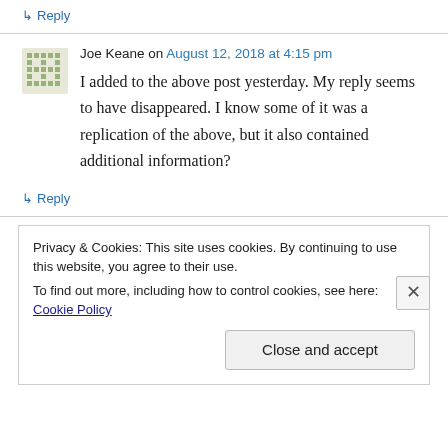↳ Reply
Joe Keane on August 12, 2018 at 4:15 pm
I added to the above post yesterday. My reply seems to have disappeared. I know some of it was a replication of the above, but it also contained additional information?
↳ Reply
Privacy & Cookies: This site uses cookies. By continuing to use this website, you agree to their use. To find out more, including how to control cookies, see here: Cookie Policy
Close and accept